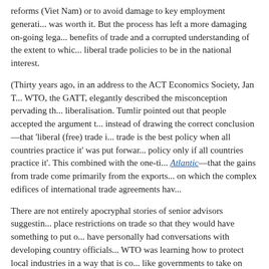reforms (Viet Nam) or to avoid damage to key employment generating industries was worth it. But the process has left a more damaging on-going legacy: corrupted benefits of trade and a corrupted understanding of the extent to which it makes liberal trade policies to be in the national interest.
(Thirty years ago, in an address to the ACT Economics Society, Jan Tumlir of the WTO, the GATT, elegantly described the misconception pervading the debate on trade liberalisation. Tumlir pointed out that people accepted the argument that instead of drawing the correct conclusion—that 'liberal (free) trade is best'—that 'free trade is the best policy when all countries practice it' was put forward as 'free trade is best policy only if all countries practice it'. This combined with the one-time Atlantic—that the gains from trade come primarily from the exports side—are the sands on which the complex edifices of international trade agreements have been built.)
There are not entirely apocryphal stories of senior advisors suggesting that countries place restrictions on trade so that they would have something to put on the table. I have personally had conversations with developing country officials who thought the WTO was learning how to protect local industries in a way that is consistent with WTO-like governments to take on board about trade policy.
Linking aid-for-trade to WTO accession has also meant that it has su...